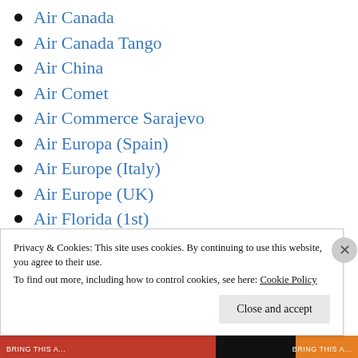Air Canada
Air Canada Tango
Air China
Air Comet
Air Commerce Sarajevo
Air Europa (Spain)
Air Europe (Italy)
Air Europe (UK)
Air Florida (1st)
Air France
Air Gabon
Privacy & Cookies: This site uses cookies. By continuing to use this website, you agree to their use.
To find out more, including how to control cookies, see here: Cookie Policy
Close and accept